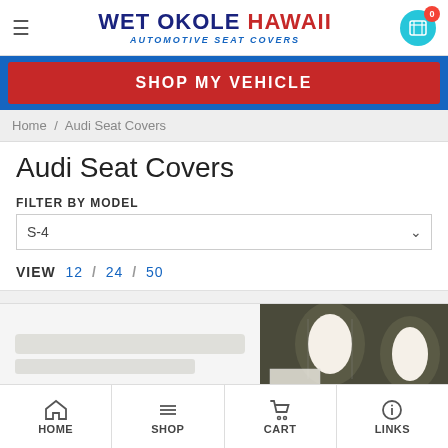Wet Okole Hawaii Automotive Seat Covers
SHOP MY VEHICLE
Home / Audi Seat Covers
Audi Seat Covers
FILTER BY MODEL
S-4
VIEW 12 / 24 / 50
[Figure (photo): Car interior showing seat headrests with dark brown/olive and white seat covers]
HOME / SHOP / CART / LINKS